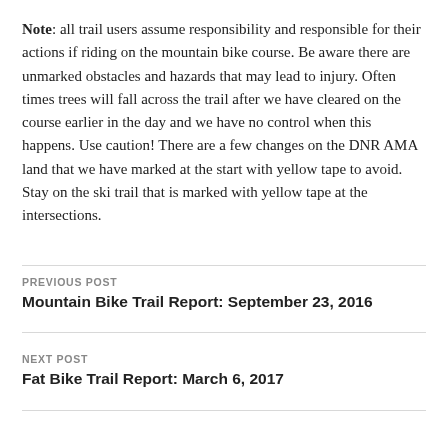Note: all trail users assume responsibility and responsible for their actions if riding on the mountain bike course. Be aware there are unmarked obstacles and hazards that may lead to injury. Often times trees will fall across the trail after we have cleared on the course earlier in the day and we have no control when this happens. Use caution! There are a few changes on the DNR AMA land that we have marked at the start with yellow tape to avoid. Stay on the ski trail that is marked with yellow tape at the intersections.
PREVIOUS POST
Mountain Bike Trail Report: September 23, 2016
NEXT POST
Fat Bike Trail Report: March 6, 2017